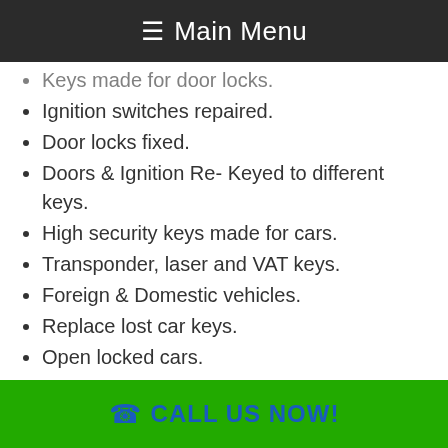≡ Main Menu
Keys made for door locks.
Ignition switches repaired.
Door locks fixed.
Doors & Ignition Re- Keyed to different keys.
High security keys made for cars.
Transponder, laser and VAT keys.
Foreign & Domestic vehicles.
Replace lost car keys.
Open locked cars.
Car lockout.
Broken key extractions.
Remaking lost high security car keys.
Unlocking steering wheel.
CALL US NOW!